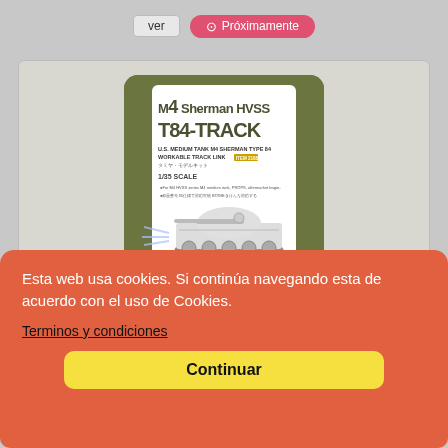ver
Próximamente
[Figure (illustration): M4 Sherman HVSS T84-TRACK model kit box art showing a tank illustration. Text reads: M4 Sherman HVSS T84-TRACK, U.S. Medium Tank M4 Sherman Type 84 Workable Track Link, 1/35 Scale]
Esta web usa cookies. Si continúa navegando esta de acuerdo con el uso de Cookies.
Terminos y condiciones
Continuar